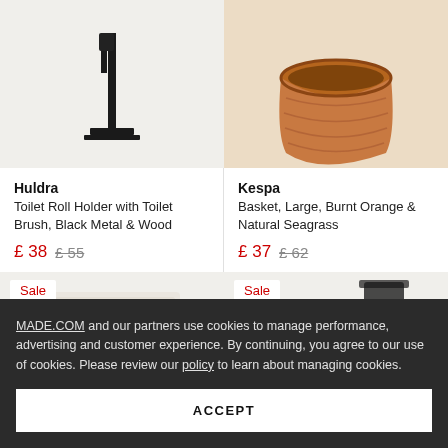[Figure (photo): Toilet brush and roll holder in black metal set against light background, cropped at top]
[Figure (photo): Large burnt orange and natural seagrass basket, cropped at top]
Huldra
Toilet Roll Holder with Toilet Brush, Black Metal & Wood
£ 38  £ 55
Kespa
Basket, Large, Burnt Orange & Natural Seagrass
£ 37  £ 62
Sale
Sale
MADE.COM and our partners use cookies to manage performance, advertising and customer experience. By continuing, you agree to our use of cookies. Please review our policy to learn about managing cookies.
ACCEPT